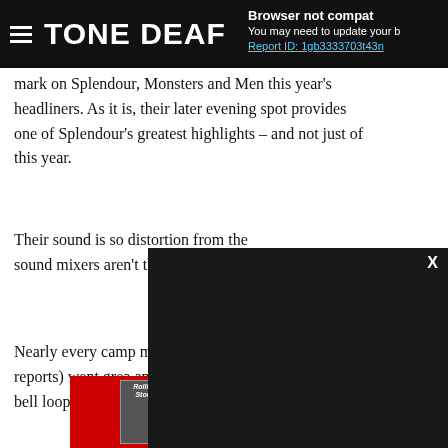TONE DEAF | Browser not compatible - You may need to update your browser. Report ID: 1gb3333703t43n...
mark on Splendour, Monsters and Men this year's headliners. As it is, their later evening spot provides one of Splendour's greatest highlights – and not just of this year.
Their sound is so distortion from the sound mixers aren't their debut LP ove
Nearly every camp missing across at J reports) went grea and a stubborn cow bell loop.
[Figure (screenshot): Rolling Stone magazine advertisement banner with red background and italic white logo text]
[Figure (screenshot): Dark/black video player modal overlay with X close button]